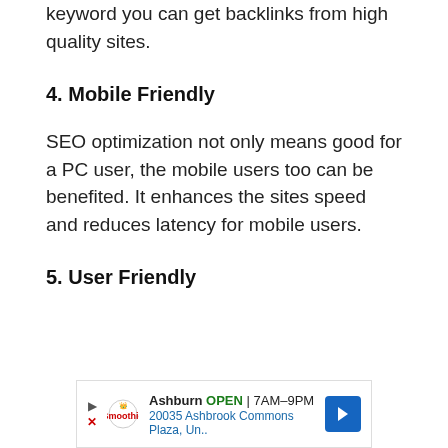keyword you can get backlinks from high quality sites.
4. Mobile Friendly
SEO optimization not only means good for a PC user, the mobile users too can be benefited. It enhances the sites speed and reduces latency for mobile users.
5. User Friendly
[Figure (other): Advertisement banner for Smoothie King in Ashburn showing OPEN status, hours 7AM-9PM, address 20035 Ashbrook Commons Plaza, with navigation arrow icon]